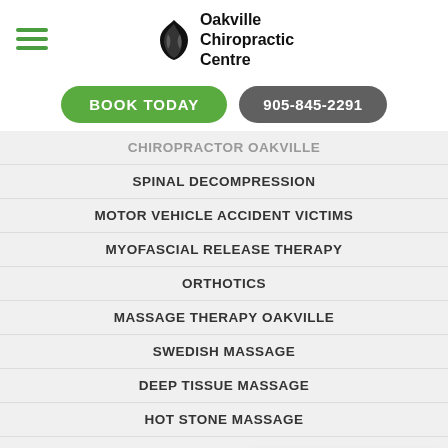[Figure (logo): Oakville Chiropractic Centre logo with hamburger menu icon on left]
BOOK TODAY | 905-845-2291
CHIROPRACTOR OAKVILLE
SPINAL DECOMPRESSION
MOTOR VEHICLE ACCIDENT VICTIMS
MYOFASCIAL RELEASE THERAPY
ORTHOTICS
MASSAGE THERAPY OAKVILLE
SWEDISH MASSAGE
DEEP TISSUE MASSAGE
HOT STONE MASSAGE
PRENATAL MASSAGE
SPORTS MASSAGE
TRIGGER POINT MASSAGE
[Figure (other): Google Rating popup showing 4.9 stars with Google G logo]